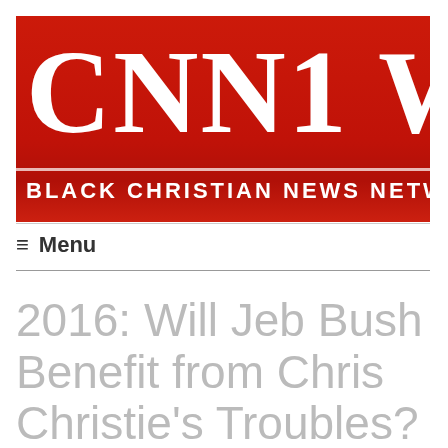[Figure (logo): CNN1 W - Black Christian News Network logo on red background banner, cropped on right side]
≡ Menu
2016: Will Jeb Bush Benefit from Chris Christie's Troubles?